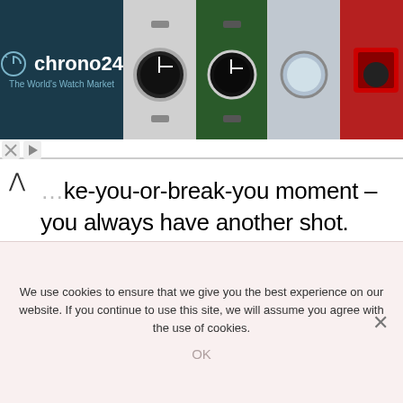[Figure (screenshot): Chrono24 advertisement banner showing watch marketplace logo on dark teal background with multiple watch product images]
...ke-you-or-break-you moment – you always have another shot.
Just like with the background, try to capture the moment when you are doing something that makes you laugh or squeal like a child. Your enthusiasm, excitement,
We use cookies to ensure that we give you the best experience on our website. If you continue to use this site, we will assume you agree with the use of cookies.
OK